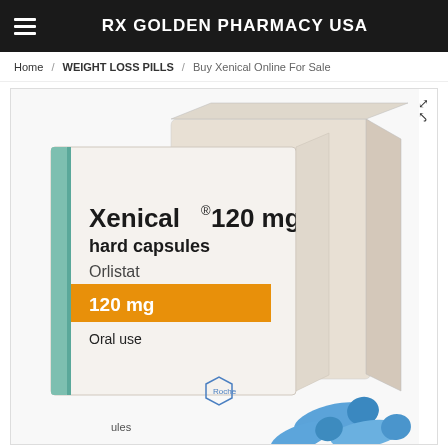RX GOLDEN PHARMACY USA
Home / WEIGHT LOSS PILLS / Buy Xenical Online For Sale
[Figure (photo): Xenical 120 mg hard capsules Orlistat medication box (Roche) with blue capsules visible in foreground]